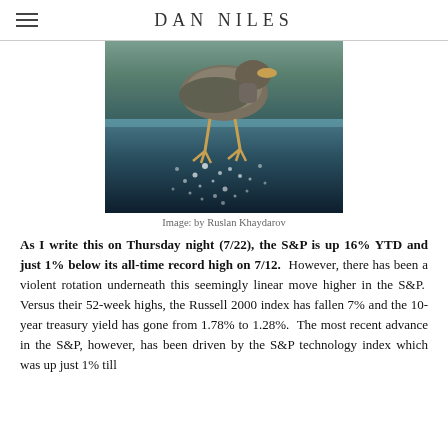DAN NILES
[Figure (photo): Underwater photo of a duck paddling, showing its feet and bubbles beneath the water surface. Image by Ruslan Khaydarov.]
Image: by Ruslan Khaydarov
As I write this on Thursday night (7/22), the S&P is up 16% YTD and just 1% below its all-time record high on 7/12.  However, there has been a violent rotation underneath this seemingly linear move higher in the S&P.  Versus their 52-week highs, the Russell 2000 index has fallen 7% and the 10-year treasury yield has gone from 1.78% to 1.28%.  The most recent advance in the S&P, however, has been driven by the S&P technology index which was up just 1% till